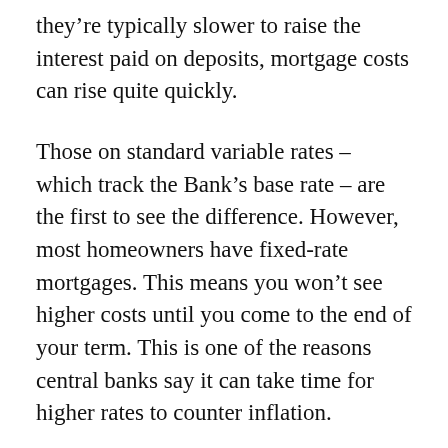they're typically slower to raise the interest paid on deposits, mortgage costs can rise quite quickly.
Those on standard variable rates – which track the Bank's base rate – are the first to see the difference. However, most homeowners have fixed-rate mortgages. This means you won't see higher costs until you come to the end of your term. This is one of the reasons central banks say it can take time for higher rates to counter inflation.
Renters are also likely to come under pressure, as buy-to-let landlords pass on higher borrowing costs to their tenants.